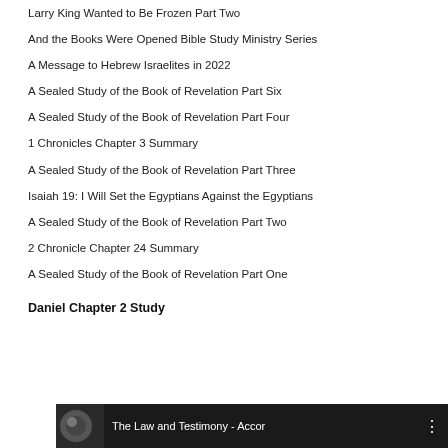Larry King Wanted to Be Frozen Part Two
And the Books Were Opened Bible Study Ministry Series
A Message to Hebrew Israelites in 2022
A Sealed Study of the Book of Revelation Part Six
A Sealed Study of the Book of Revelation Part Four
1 Chronicles Chapter 3 Summary
A Sealed Study of the Book of Revelation Part Three
Isaiah 19: I Will Set the Egyptians Against the Egyptians
A Sealed Study of the Book of Revelation Part Two
2 Chronicle Chapter 24 Summary
A Sealed Study of the Book of Revelation Part One
Daniel Chapter 2 Study
[Figure (screenshot): Video thumbnail bar at bottom showing 'The Law and Testimony - Accor' with a circular portrait image on dark background]